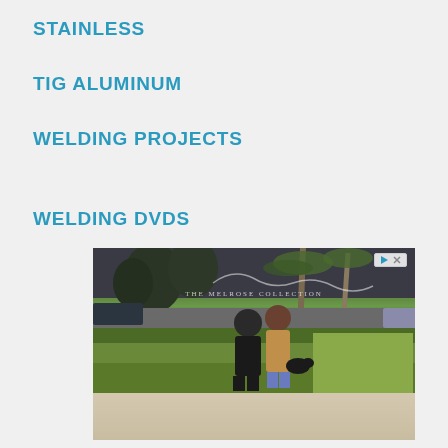STAINLESS
TIG ALUMINUM
WELDING PROJECTS
WELDING DVDs
[Figure (photo): Advertisement image showing two people walking outdoors near hedges and palm trees, with 'The Melrose Collection' text overlay. An ad badge with play and close icons is in the top right corner.]